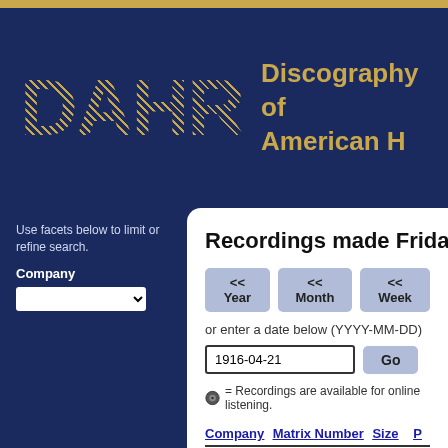DAHR — Discography of American Historical Recordings
Use facets below to limit or refine search.
Company
Recordings made Friday
<< Year  << Month  << Week
or enter a date below (YYYY-MM-DD)
1916-04-21
= Recordings are available for online listening.
| Company | Matrix Number | Size |  |
| --- | --- | --- | --- |
| Victor | C-14511 | 12-in. | 2 |